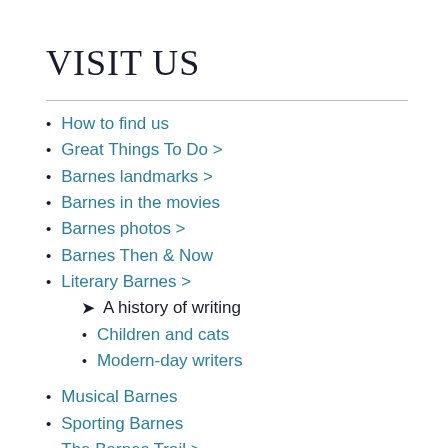VISIT US
How to find us
Great Things To Do >
Barnes landmarks >
Barnes in the movies
Barnes photos >
Barnes Then & Now
Literary Barnes >
A history of writing
Children and cats
Modern-day writers
Musical Barnes
Sporting Barnes
The Barnes Trail >